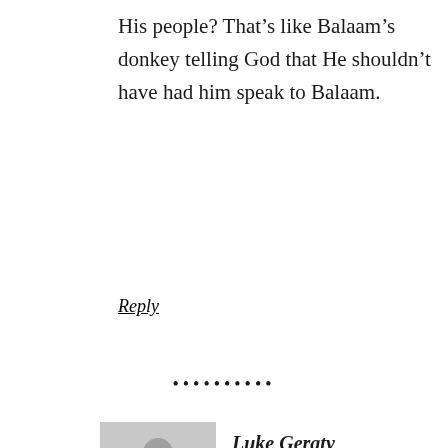His people? That’s like Balaam’s donkey telling God that He shouldn’t have had him speak to Balaam.
Reply
•••••••••
Luke Geraty
August 8, 2013 at 10:05 PM
Privacy & Cookies: This site uses cookies. By continuing to use this website, you agree to their use.
To find out more, including how to control cookies, see here: Cookie Policy
Close and accept
(1) Your own website still lists Phil Johnson as